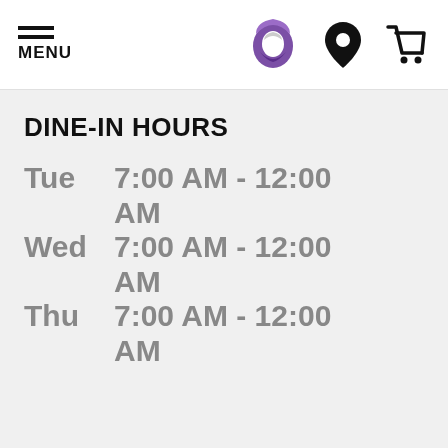MENU | Taco Bell logo | Location icon | Cart icon
DINE-IN HOURS
| Day | Hours |
| --- | --- |
| Tue | 7:00 AM - 12:00 AM |
| Wed | 7:00 AM - 12:00 AM |
| Thu | 7:00 AM - 12:00 AM |